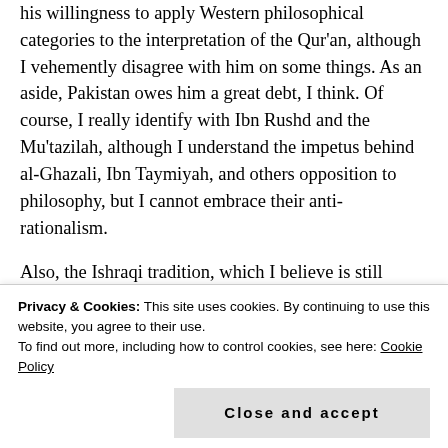his willingness to apply Western philosophical categories to the interpretation of the Qur'an, although I vehemently disagree with him on some things. As an aside, Pakistan owes him a great debt, I think. Of course, I really identify with Ibn Rushd and the Mu'tazilah, although I understand the impetus behind al-Ghazali, Ibn Taymiyah, and others opposition to philosophy, but I cannot embrace their anti-rationalism.
Also, the Ishraqi tradition, which I believe is still flourishing in Iran, has pumped out some stellar intellectuals, in recent years, with particular
Privacy & Cookies: This site uses cookies. By continuing to use this website, you agree to their use.
To find out more, including how to control cookies, see here: Cookie Policy
Close and accept